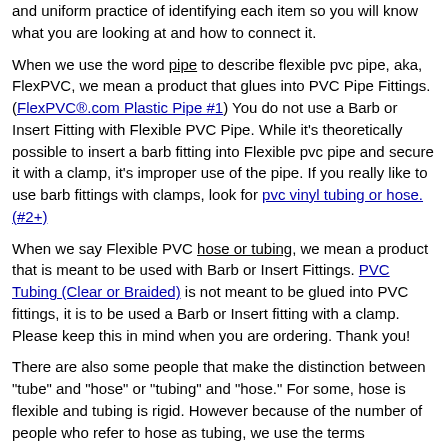and uniform practice of identifying each item so you will know what you are looking at and how to connect it.
When we use the word pipe to describe flexible pvc pipe, aka, FlexPVC, we mean a product that glues into PVC Pipe Fittings. (FlexPVC®.com Plastic Pipe #1) You do not use a Barb or Insert Fitting with Flexible PVC Pipe. While it's theoretically possible to insert a barb fitting into Flexible pvc pipe and secure it with a clamp, it's improper use of the pipe. If you really like to use barb fittings with clamps, look for pvc vinyl tubing or hose. (#2+)
When we say Flexible PVC hose or tubing, we mean a product that is meant to be used with Barb or Insert Fittings. PVC Tubing (Clear or Braided) is not meant to be glued into PVC fittings, it is to be used a Barb or Insert fitting with a clamp. Please keep this in mind when you are ordering. Thank you!
There are also some people that make the distinction between "tube" and "hose" or "tubing" and "hose." For some, hose is flexible and tubing is rigid. However because of the number of people who refer to hose as tubing, we use the terms interchangeably.
Here's a picture to help illustrate the differences between flexible pvc pipe, pvc tubing and hose.